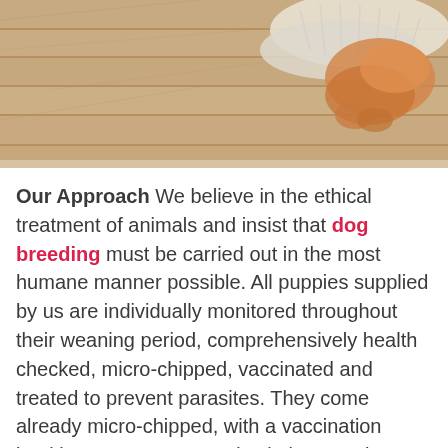[Figure (photo): A dog lying on a wooden floor with a fluffy white toy/rug, photographed from above. Warm wood grain flooring visible.]
Our Approach We believe in the ethical treatment of animals and insist that dog breeding must be carried out in the most humane manner possible. All puppies supplied by us are individually monitored throughout their weaning period, comprehensively health checked, micro-chipped, vaccinated and treated to prevent parasites. They come already micro-chipped, with a vaccination booklet, pet passport and aviation travel crate to facilitate international travel. The new owner will